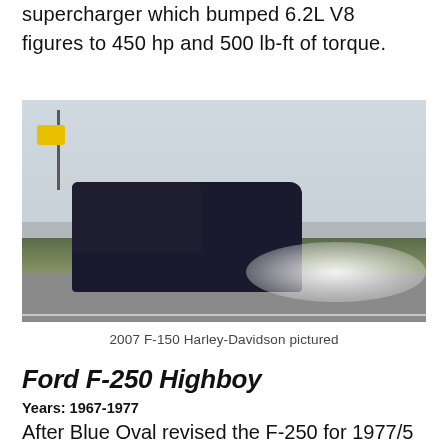supercharger which bumped 6.2L V8 figures to 450 hp and 500 lb-ft of torque.
[Figure (photo): A dark/black Ford F-150 Harley-Davidson edition truck doing a burnout on a road, with large clouds of white smoke billowing from the rear tires. Background shows green trees and industrial buildings under an overcast sky.]
2007 F-150 Harley-Davidson pictured
Ford F-250 Highboy
Years: 1967-1977
After Blue Oval revised the F-250 for 1977/5 model year, all models made prior to that